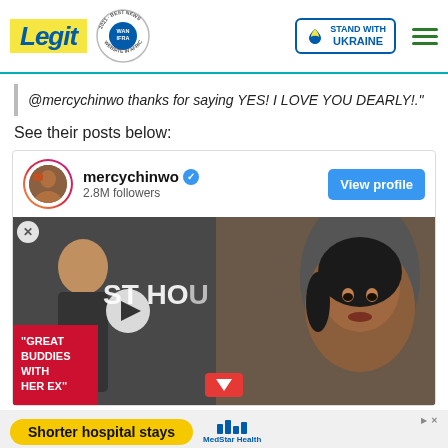Legit | WAN IFRA 2021 Best News Website in Africa | Stand with Ukraine
@mercychinwo thanks for saying YES! I LOVE YOU DEARLY!."
See their posts below:
[Figure (screenshot): Instagram embed card showing mercychinwo profile with 2.8M followers, View profile button, and a photo/video of a woman at an event with a video overlay showing 'GREAT BUDDIES WITH HER EX' and a play button]
[Figure (infographic): Advertisement banner: Shorter hospital stays - MedStar Health]